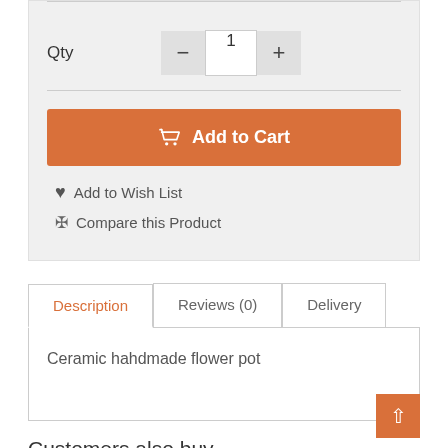Qty
1
Add to Cart
Add to Wish List
Compare this Product
Description
Reviews (0)
Delivery
Ceramic hahdmade flower pot
Customers also buy